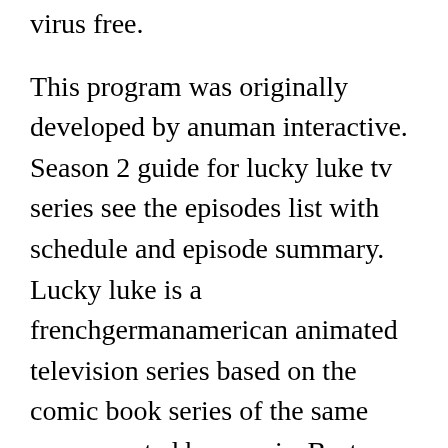virus free.
This program was originally developed by anuman interactive. Season 2 guide for lucky luke tv series see the episodes list with schedule and episode summary. Lucky luke is a frenchgermanamerican animated television series based on the comic book series of the same name created by morris. Best quality hd, all formats and devices support, mp4 mkv avi.
1168  969  1120  352  50  807
672  813  16  1037  18  334  807
1025  395  1394  226  399  607
693  754  286  524  143  1407